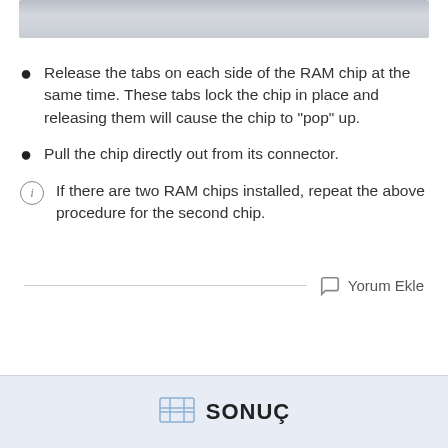[Figure (photo): Partial image of a RAM chip installation, showing a hardware component against a light background.]
Release the tabs on each side of the RAM chip at the same time. These tabs lock the chip in place and releasing them will cause the chip to "pop" up.
Pull the chip directly out from its connector.
If there are two RAM chips installed, repeat the above procedure for the second chip.
Yorum Ekle
SONUÇ